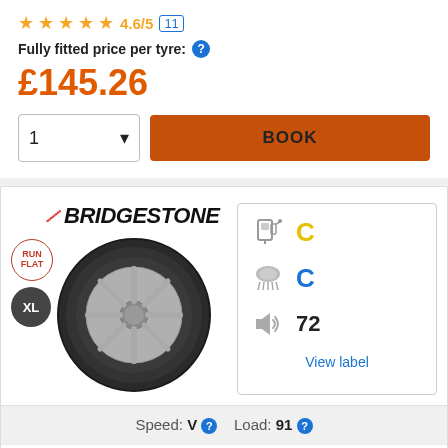4.6/5 (11)
Fully fitted price per tyre: ?
£145.26
1 ▾  BOOK
[Figure (illustration): Bridgestone tyre product image with RUN FLAT and XL badges, fuel efficiency grade C (yellow), wet grip grade C (blue), noise level 72, and View label link]
Speed: V ? Load: 91 ?
Turanza T005